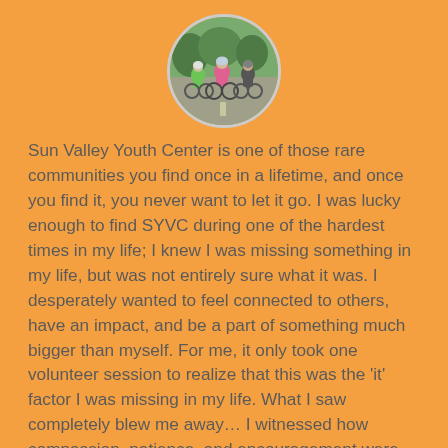[Figure (photo): Circular cropped photo showing cyclists wearing helmets and colorful jerseys on a road, viewed from behind.]
Sun Valley Youth Center is one of those rare communities you find once in a lifetime, and once you find it, you never want to let it go. I was lucky enough to find SYVC during one of the hardest times in my life; I knew I was missing something in my life, but was not entirely sure what it was. I desperately wanted to feel connected to others, have an impact, and be a part of something much bigger than myself. For me, it only took one volunteer session to realize that this was the 'it' factor I was missing in my life. What I saw completely blew me away… I witnessed how compassion, patience, and encouragement were the foundation to all the values Sun Valley holds pure. From the staff helping students work